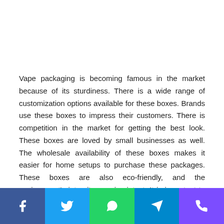Vape packaging is becoming famous in the market because of its sturdiness. There is a wide range of customization options available for these boxes. Brands use these boxes to impress their customers. There is competition in the market for getting the best look. These boxes are loved by small businesses as well. The wholesale availability of these boxes makes it easier for home setups to purchase these packages. These boxes are also eco-friendly, and the environment's integrity remains intact. It is important to use certain tips to improve their presentation. The following article will explain 10 quick tips when using these boxes.
[Figure (infographic): Social sharing bar with five buttons: Facebook (blue), Twitter (light blue), WhatsApp (green), Telegram (cyan/blue), Phone/Viber (purple)]